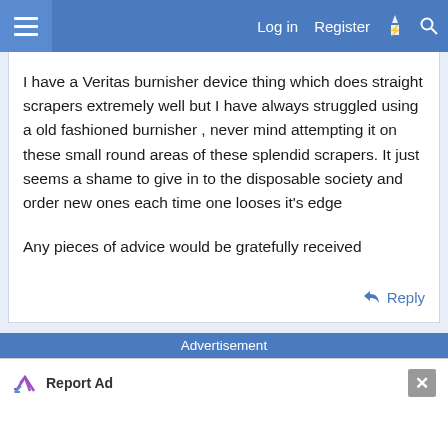Log in  Register
I have a Veritas burnisher device thing which does straight scrapers extremely well but I have always struggled using a old fashioned burnisher , never mind attempting it on these small round areas of these splendid scrapers. It just seems a shame to give in to the disposable society and order new ones each time one looses it's edge

Any pieces of advice would be gratefully received
Reply
Advertisement
Report Ad